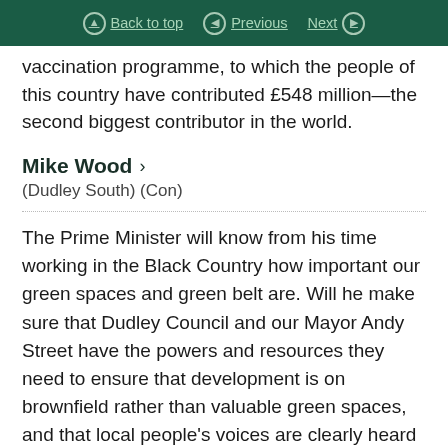Back to top | Previous | Next
vaccination programme, to which the people of this country have contributed £548 million—the second biggest contributor in the world.
Mike Wood > (Dudley South) (Con)
The Prime Minister will know from his time working in the Black Country how important our green spaces and green belt are. Will he make sure that Dudley Council and our Mayor Andy Street have the powers and resources they need to ensure that development is on brownfield rather than valuable green spaces, and that local people's voices are clearly heard and taken into account, including where the proposed development is across local